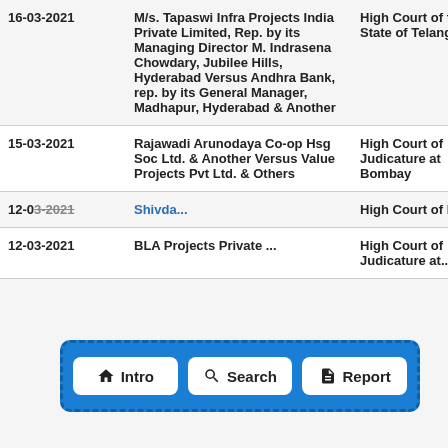| Date | Case | Court |
| --- | --- | --- |
| 16-03-2021 | M/s. Tapaswi Infra Projects India Private Limited, Rep. by its Managing Director M. Indrasena Chowdary, Jubilee Hills, Hyderabad Versus Andhra Bank, rep. by its General Manager, Madhapur, Hyderabad & Another | High Court of for the State of Telangana |
| 15-03-2021 | Rajawadi Arunodaya Co-op Hsg Soc Ltd. & Another Versus Value Projects Pvt Ltd. & Others | High Court of Judicature at Bombay |
| 12-03-2021 | Shiv... | High Court of India... |
| 12-03-2021 | BLA Projects Private ... | High Court of Judicature at... |
[Figure (infographic): Navigation bar overlay with blue background and dashed border containing three white buttons: Intro (home icon), Search (magnifying glass icon), Report (document icon)]